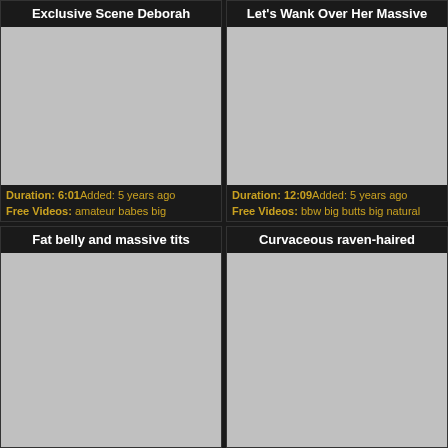Exclusive Scene Deborah
[Figure (photo): Video thumbnail placeholder, gray rectangle]
Duration: 6:01Added: 5 years ago
Free Videos: amateur babes big
Let's Wank Over Her Massive
[Figure (photo): Video thumbnail placeholder, gray rectangle]
Duration: 12:09Added: 5 years ago
Free Videos: bbw big butts big natural
Fat belly and massive tits
[Figure (photo): Video thumbnail placeholder, gray rectangle]
Curvaceous raven-haired
[Figure (photo): Video thumbnail placeholder, gray rectangle]